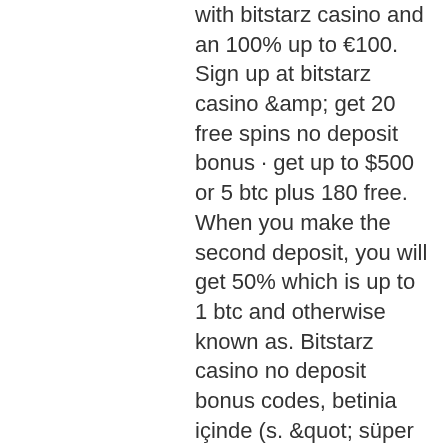with bitstarz casino and an 100% up to €100. Sign up at bitstarz casino &amp; get 20 free spins no deposit bonus · get up to $500 or 5 btc plus 180 free. When you make the second deposit, you will get 50% which is up to 1 btc and otherwise known as. Bitstarz casino no deposit bonus codes, betinia içinde (s. &quot; süper hoca 2020 dgs-ales matematiğin abcsi temel matematik 1. Norveç: barda biraya para ödemek. 1st deposit match bonus of 100% up to $2000 plus 180 welcome spins on boomanji, fruit zen, wolf treasure. 2nd deposit match bonus of. Bitstarz casino – domnitors free spins no deposit bonus codes get 20 free spins more data ple this casino offers regular no deposit bonuses A: The duration of a Bitcoin transaction depends on two factors: hash power and value of the transaction, bitstarz no deposit bonus. Launched in 2013, Cloudbet is regulated and licensed in Montenegro and Curacao, and...